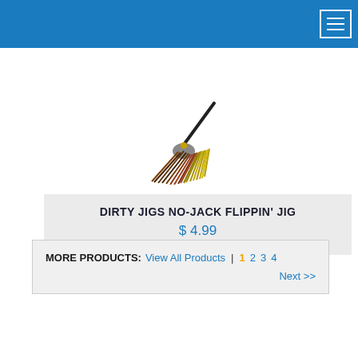Navigation header with hamburger menu
[Figure (photo): Dirty Jigs No-Jack Flippin' Jig fishing lure product image on white background]
DIRTY JIGS NO-JACK FLIPPIN' JIG
$ 4.99
MORE PRODUCTS: View All Products | 1 2 3 4 Next >>